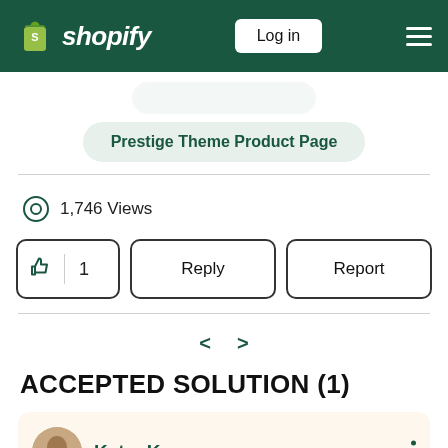Shopify — Log in
Prestige Theme Product Page
1,746 Views
👍 1   Reply   Report
< >
ACCEPTED SOLUTION (1)
KetanKumar